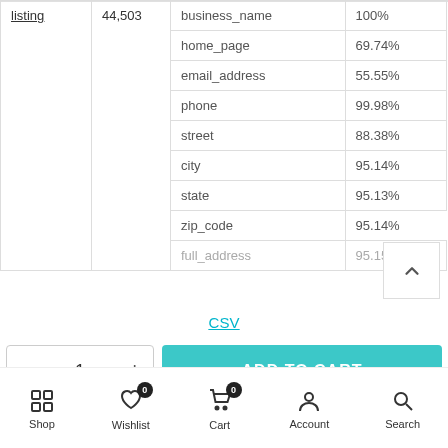|  |  | field | completeness |
| --- | --- | --- | --- |
| listing | 44,503 | business_name | 100% |
|  |  | home_page | 69.74% |
|  |  | email_address | 55.55% |
|  |  | phone | 99.98% |
|  |  | street | 88.38% |
|  |  | city | 95.14% |
|  |  | state | 95.13% |
|  |  | zip_code | 95.14% |
|  |  | full_address | 95.15% |
CSV
- 1 + ADD TO CART
Shop  Wishlist  Cart  Account  Search